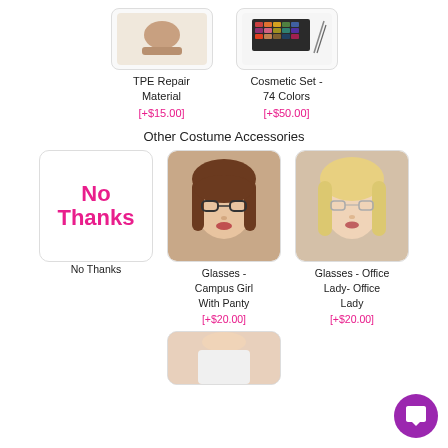[Figure (photo): Product image placeholder for TPE Repair Material]
TPE Repair Material
[+$15.00]
[Figure (photo): Product image placeholder for Cosmetic Set - 74 Colors]
Cosmetic Set - 74 Colors
[+$50.00]
Other Costume Accessories
[Figure (other): No Thanks selection button with pink bold text]
No Thanks
[Figure (photo): Photo of doll wearing glasses - Campus Girl style with brown hair]
Glasses - Campus Girl With Panty
[+$20.00]
[Figure (photo): Photo of doll wearing glasses - Office Lady style with blonde hair]
Glasses - Office Lady- Office Lady
[+$20.00]
[Figure (photo): Partial bottom image of another costume accessory option]